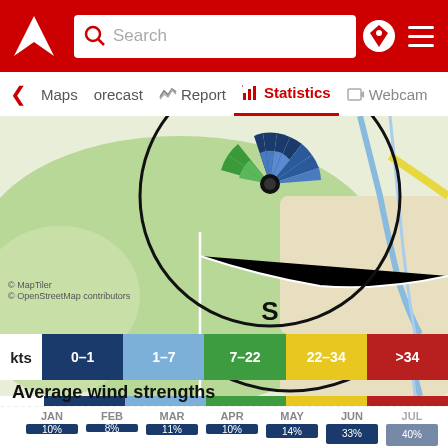Windy app header with search bar and navigation icons
Maps | forecast | Report | Statistics | Webcam
[Figure (map): Wind rose overlaid on an OpenStreetMap map showing green terrain, a wind rose with blue and green segments indicating wind directions, a black arc, white road lines, and a large S label at bottom center. Attribution: MapTiler, OpenStreetMap contributors.]
kts  0-1  1-7  7-22  22-34  >34
Average wind strengths
[Figure (stacked-bar-chart): Average wind strengths]